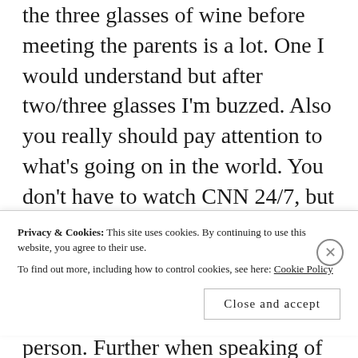the three glasses of wine before meeting the parents is a lot. One I would understand but after two/three glasses I'm buzzed. Also you really should pay attention to what's going on in the world. You don't have to watch CNN 24/7, but knowing about Isis, what's going on with Russia/Ukraine, immigration crisis and so forth will make you a better rounded person. Further when speaking of politics don't wing it especially if you don't
Privacy & Cookies: This site uses cookies. By continuing to use this website, you agree to their use.
To find out more, including how to control cookies, see here: Cookie Policy
Close and accept